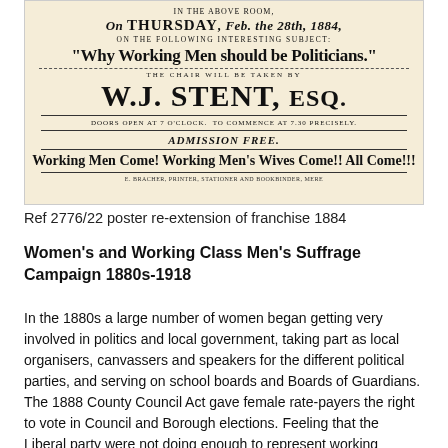[Figure (photo): Scanned historical Victorian-era poster on cream background advertising a meeting on Thursday Feb 28th 1884 titled 'Why Working Men should be Politicians.' chaired by W.J. Stent, Esq. Admission free.]
Ref 2776/22 poster re-extension of franchise 1884
Women's and Working Class Men's Suffrage Campaign 1880s-1918
In the 1880s a large number of women began getting very involved in politics and local government, taking part as local organisers, canvassers and speakers for the different political parties, and serving on school boards and Boards of Guardians. The 1888 County Council Act gave female rate-payers the right to vote in Council and Borough elections. Feeling that the Liberal party were not doing enough to represent working people the Independent Labour Party was founded in 1893. In 1900 the ILP played a key role in founding the Labour Representation